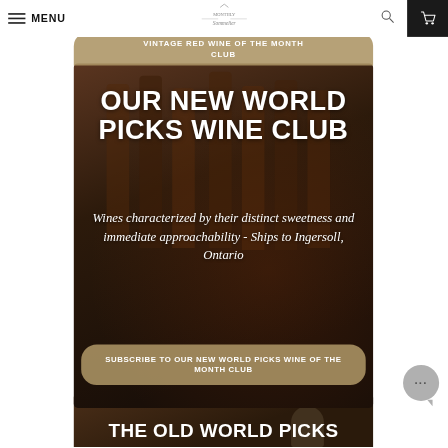MENU | Monthly Sommelier Logo
VINTAGE RED WINE OF THE MONTH CLUB
OUR NEW WORLD PICKS WINE CLUB
Wines characterized by their distinct sweetness and immediate approachability - Ships to Ingersoll, Ontario
SUBSCRIBE TO OUR NEW WORLD PICKS WINE OF THE MONTH CLUB
THE OLD WORLD PICKS